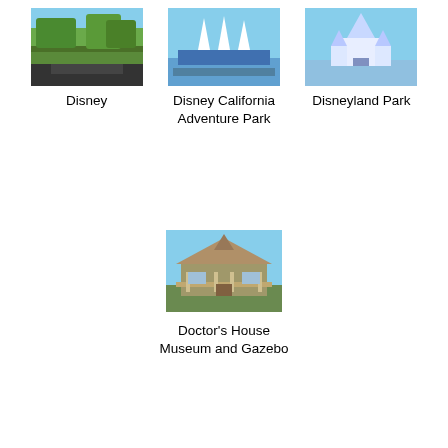[Figure (photo): Photo of Disney park with trees and road]
Disney
[Figure (photo): Photo of Disney California Adventure Park with castle-like structures and blue sky]
Disney California Adventure Park
[Figure (photo): Photo of Disneyland Park castle with blue sky]
Disneyland Park
[Figure (photo): Photo of Doctor's House Museum and Gazebo, a Victorian-style house]
Doctor's House Museum and Gazebo